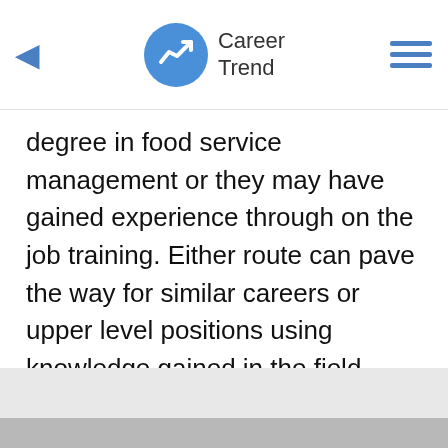Career Trend
degree in food service management or they may have gained experience through on the job training. Either route can pave the way for similar careers or upper level positions using knowledge gained in the field.